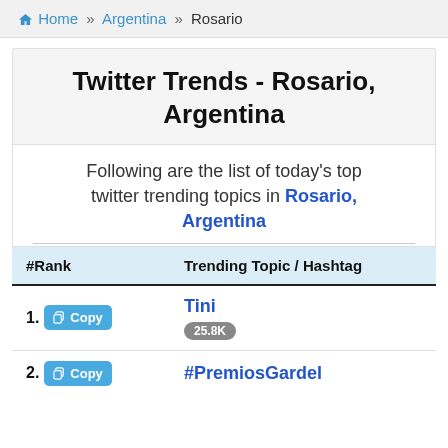Home » Argentina » Rosario
Twitter Trends - Rosario, Argentina
Following are the list of today's top twitter trending topics in Rosario, Argentina
| #Rank | Trending Topic / Hashtag |
| --- | --- |
| 1. Copy | Tini 25.8K |
| 2. Copy | #PremiosGardel |